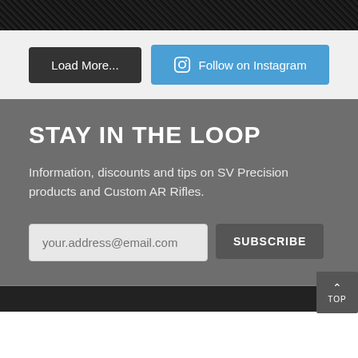[Figure (photo): Dark textured image at top of page]
Load More...
Follow on Instagram
STAY IN THE LOOP
Information, discounts and tips on SV Precision products and Custom AR Rifles.
your.address@email.com
SUBSCRIBE
TOP